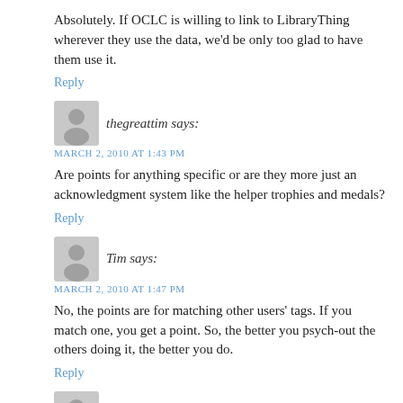Absolutely. If OCLC is willing to link to LibraryThing wherever they use the data, we'd be only too glad to have them use it.
Reply
thegreattim says:
MARCH 2, 2010 AT 1:43 PM
Are points for anything specific or are they more just an acknowledgment system like the helper trophies and medals?
Reply
Tim says:
MARCH 2, 2010 AT 1:47 PM
No, the points are for matching other users' tags. If you match one, you get a point. So, the better you psych-out the others doing it, the better you do.
Reply
Melissa says:
MARCH 2, 2010 AT 3:11 PM
LOL, was this inspired by all the emails on including book cover color in catalog records sent to AUTOCAT? This is a great idea! I'll have to try the "game" out when I'm not at work.